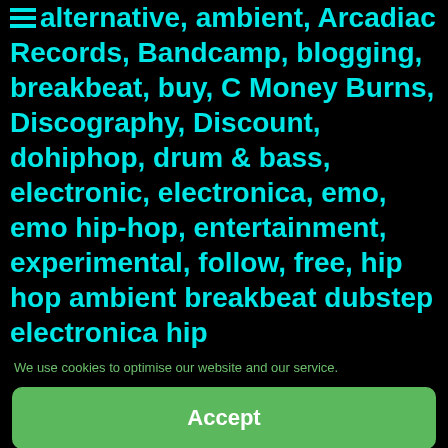alternative, ambient, Arcadiac Records, Bandcamp, blogging, breakbeat, buy, C Money Burns, Discography, Discount, dohiphop, drum & bass, electronic, electronica, emo, emo hip-hop, entertainment, experimental, follow, free, hip hop ambient breakbeat dubstep electronica hip
We use cookies to optimise our website and our service.
Accept
Deny
Preferences
Cookie Policy  Privacy Policy